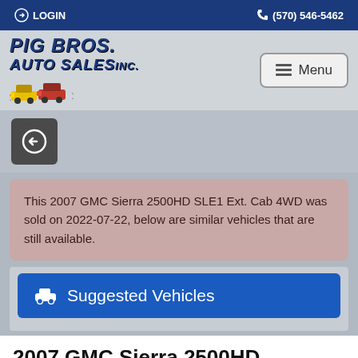LOGIN  (570) 546-5462
[Figure (logo): PIG BROS. AUTO SALES INC. logo with illustrated cars and menu button]
[Figure (other): Back navigation button (circle arrow icon on dark background)]
This 2007 GMC Sierra 2500HD SLE1 Ext. Cab 4WD was sold on 2022-07-22, below are similar vehicles that are still available.
Suggested Vehicles
2007 GMC Sierra 2500HD SLE1 Ext. Cab 4WD